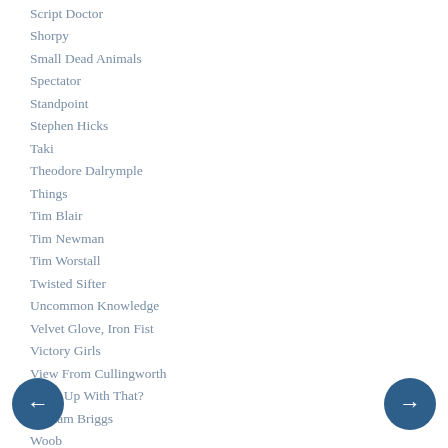Script Doctor
Shorpy
Small Dead Animals
Spectator
Standpoint
Stephen Hicks
Taki
Theodore Dalrymple
Things
Tim Blair
Tim Newman
Tim Worstall
Twisted Sifter
Uncommon Knowledge
Velvet Glove, Iron Fist
Victory Girls
View From Cullingworth
Watts Up With That?
William Briggs
Woob
Zombietime
Zombie
Zomblog (archive)